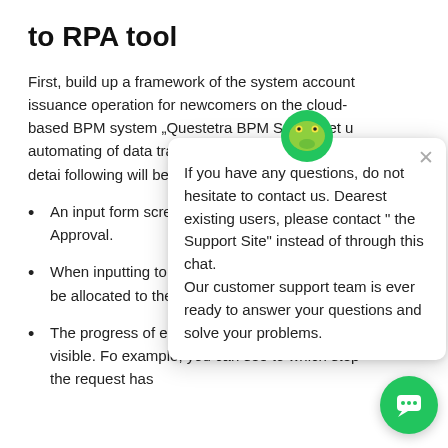to RPA tool
First, build up a framework of the system account issuance operation for newcomers on the cloud-based BPM system „Questetra BPM Suite", set u automating of data transac Although I omitted the detai following will be possible wh BPM Suite".
An input form screen you can enter relevan Approval.
When inputting to th finished, the next step will be allocated to the next personnel.
The progress of each operation become visible. For example, you can see to which step the request has
[Figure (screenshot): Chat popup widget with avatar icon, close button (x), and message text: 'If you have any questions, do not hesitate to contact us. Dearest existing users, please contact "the Support Site" instead of through this chat. Our customer support team is ever ready to answer your questions and solve your problems.' With a green chat button in the bottom right.]